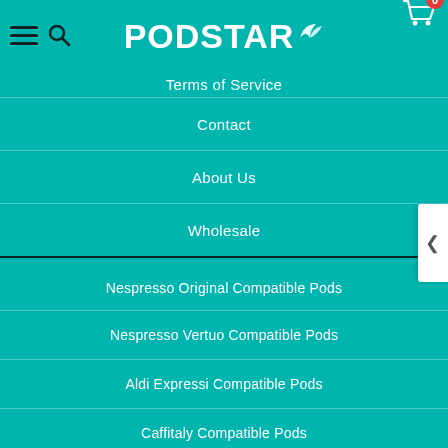PODSTAR
Terms of Service
Contact
About Us
Wholesale
Nespresso Original Compatible Pods
Nespresso Vertuo Compatible Pods
Aldi Expressi Compatible Pods
Caffitaly Compatible Pods